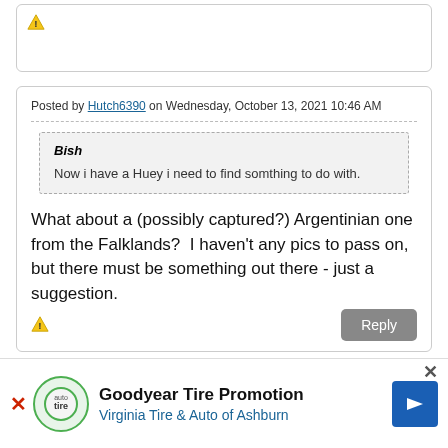[Figure (other): Warning icon (triangle with exclamation mark) in top card area]
Posted by Hutch6390 on Wednesday, October 13, 2021 10:46 AM
Bish
Now i have a Huey i need to find somthing to do with.
What about a (possibly captured?) Argentinian one from the Falklands?  I haven't any pics to pass on, but there must be something out there - just a suggestion.
Reply
Goodyear Tire Promotion
Virginia Tire & Auto of Ashburn